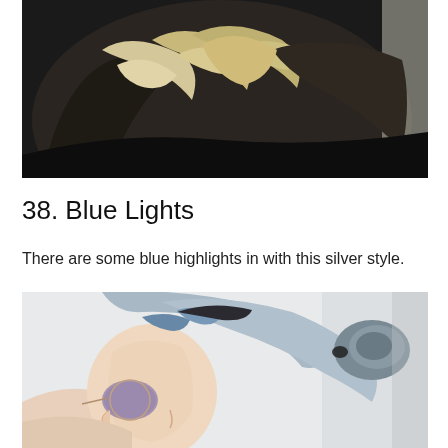[Figure (photo): Close-up photo of a person's hair with blonde and silver highlights on dark brown wavy hair against a black background]
38. Blue Lights
There are some blue highlights in with this silver style.
[Figure (photo): Side profile photo of a person with silver-blue hair pulled up in a bun, wearing round tinted sunglasses, against a light background]